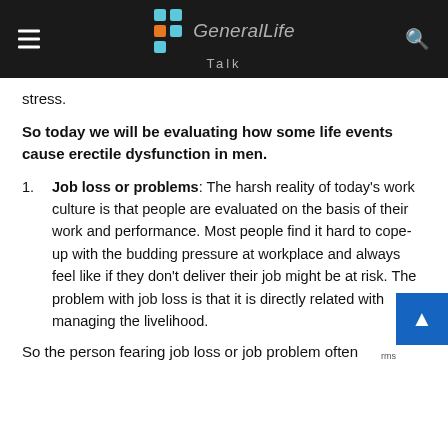GeneralLife Talk
stress.
So today we will be evaluating how some life events cause erectile dysfunction in men.
Job loss or problems: The harsh reality of today's work culture is that people are evaluated on the basis of their work and performance. Most people find it hard to cope-up with the budding pressure at workplace and always feel like if they don't deliver their job might be at risk. The problem with job loss is that it is directly related with managing the livelihood.
So the person fearing job loss or job problem often